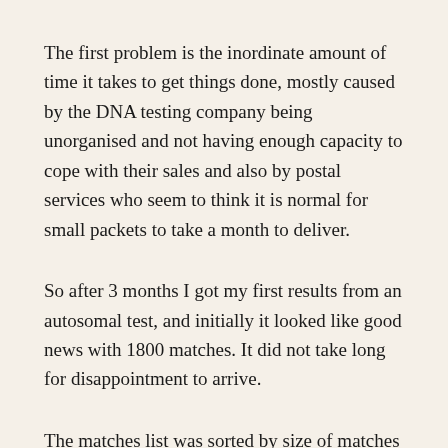The first problem is the inordinate amount of time it takes to get things done, mostly caused by the DNA testing company being unorganised and not having enough capacity to cope with their sales and also by postal services who seem to think it is normal for small packets to take a month to deliver.
So after 3 months I got my first results from an autosomal test, and initially it looked like good news with 1800 matches. It did not take long for disappointment to arrive.
The matches list was sorted by size of matches but could be reordered by closeness of